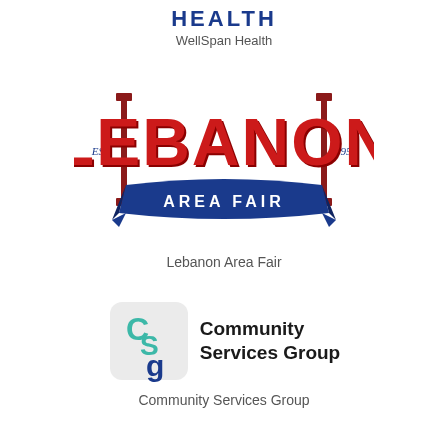[Figure (logo): WellSpan Health logo: bold blue HEALTH text with WellSpan Health subtitle]
WellSpan Health
[Figure (logo): Lebanon Area Fair logo: large red LEBANON text with EST. and 1957, blue AREA FAIR banner ribbon, established 1957]
Lebanon Area Fair
[Figure (logo): Community Services Group logo: rounded square with teal C, S, g letters overlapping, and bold black Community Services Group text]
Community Services Group